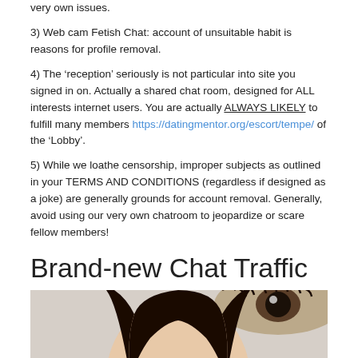very own issues.
3) Web cam Fetish Chat: account of unsuitable habit is reasons for profile removal.
4) The 'reception' seriously is not particular into site you signed in on. Actually a shared chat room, designed for ALL interests internet users. You are actually ALWAYS LIKELY to fulfill many members https://datingmentor.org/escort/tempe/ of the 'Lobby'.
5) While we loathe censorship, improper subjects as outlined in your TERMS AND CONDITIONS (regardless if designed as a joke) are generally grounds for account removal. Generally, avoid using our very own chatroom to jeopardize or scare fellow members!
Brand-new Chat Traffic
[Figure (photo): Close-up photo of an Asian woman's face with dark hair, shown against a light background, with a large eye visible in the upper right corner.]